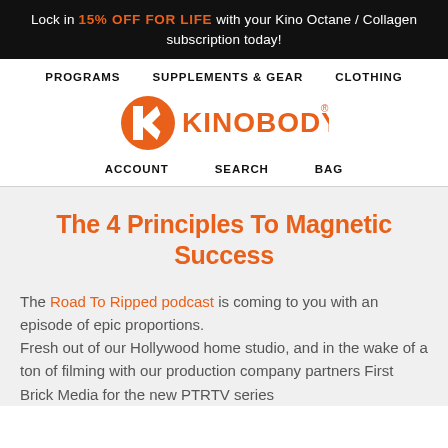Lock in 15% OFF FOR LIFE with your Kino Octane / Collagen subscription today!
PROGRAMS  SUPPLEMENTS & GEAR  CLOTHING
[Figure (logo): Kinobody logo: orange K-shaped arrow icon with orange KINOBODY text and registered trademark symbol]
ACCOUNT  SEARCH  BAG
The 4 Principles To Magnetic Success
The Road To Ripped podcast is coming to you with an episode of epic proportions.
Fresh out of our Hollywood home studio, and in the wake of a ton of filming with our production company partners First Brick Media for the new PTRTV series